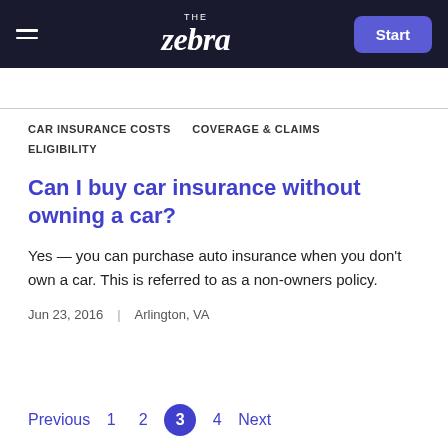THE zebra | Start
CAR INSURANCE COSTS   COVERAGE & CLAIMS   ELIGIBILITY
Can I buy car insurance without owning a car?
Yes — you can purchase auto insurance when you don't own a car. This is referred to as a non-owners policy.
Jun 23, 2016   |   Arlington, VA
Previous  1  2  3  4  Next